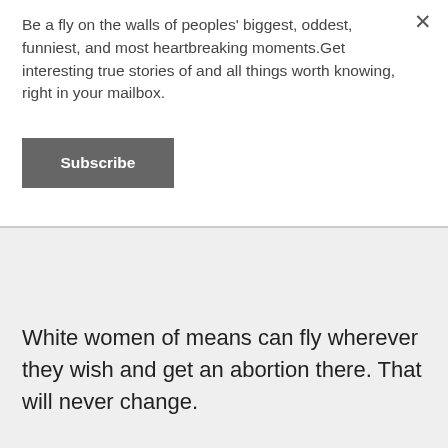Be a fly on the walls of peoples' biggest, oddest, funniest, and most heartbreaking moments.Get interesting true stories of and all things worth knowing, right in your mailbox.
Subscribe
White women of means can fly wherever they wish and get an abortion there. That will never change.